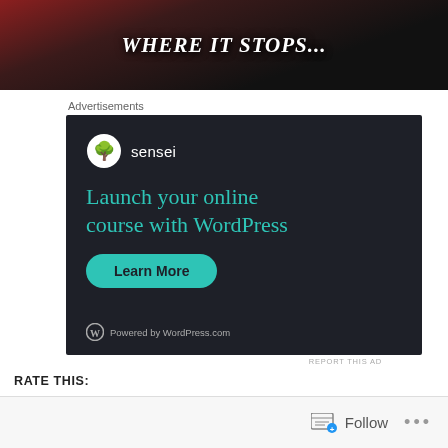[Figure (photo): Dark banner image with text 'WHERE IT STOPS...' in white italic bold font, over dark background with books visible]
Advertisements
[Figure (screenshot): Sensei advertisement on dark background. Logo and name 'sensei' at top. Text: 'Launch your online course with WordPress'. Green 'Learn More' button. 'Powered by WordPress.com' at bottom.]
REPORT THIS AD
RATE THIS:
21 Votes
Follow